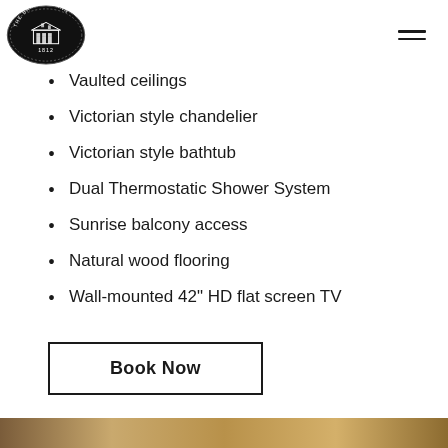The Barracks Inn logo and navigation menu
Vaulted ceilings
Victorian style chandelier
Victorian style bathtub
Dual Thermostatic Shower System
Sunrise balcony access
Natural wood flooring
Wall-mounted 42" HD flat screen TV
Book Now
[Figure (photo): Bottom strip showing interior wood/gold toned flooring or decor of the inn]